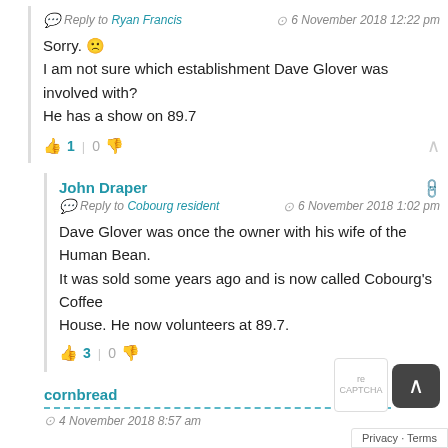Reply to Ryan Francis · 6 November 2018 12:22 pm
Sorry. 🙁
I am not sure which establishment Dave Glover was involved with?
He has a show on 89.7
1 | 0
John Draper
Reply to Cobourg resident · 6 November 2018 1:02 pm
Dave Glover was once the owner with his wife of the Human Bean. It was sold some years ago and is now called Cobourg's Coffee House. He now volunteers at 89.7.
3 | 0
cornbread
4 November 2018 8:57 am